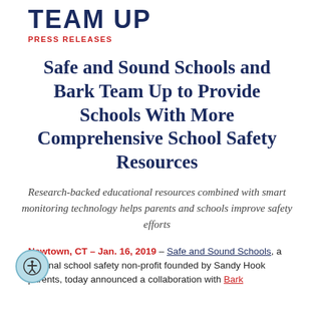TEAM UP
PRESS RELEASES
Safe and Sound Schools and Bark Team Up to Provide Schools With More Comprehensive School Safety Resources
Research-backed educational resources combined with smart monitoring technology helps parents and schools improve safety efforts
Newtown, CT – Jan. 16, 2019 – Safe and Sound Schools, a national school safety non-profit founded by Sandy Hook parents, today announced a collaboration with Bark to...